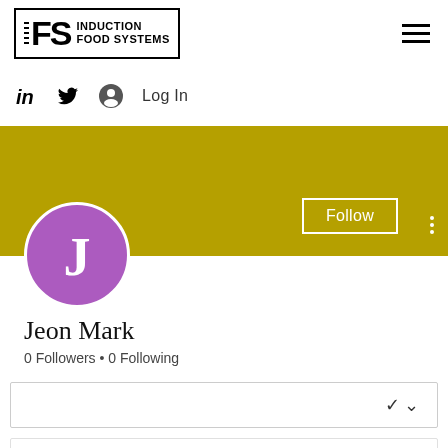[Figure (logo): IFS Induction Food Systems logo in black box with hamburger menu icon]
[Figure (infographic): Social bar with LinkedIn, Twitter icons, user account icon, and Log In text]
[Figure (infographic): Olive/dark yellow profile banner with Follow button, three-dot menu, and purple avatar circle with letter J]
Jeon Mark
0 Followers • 0 Following
[Figure (infographic): Dropdown selector box with chevron]
[Figure (infographic): Contact box with Phone (green phone icon) and Email (magenta envelope icon) options]